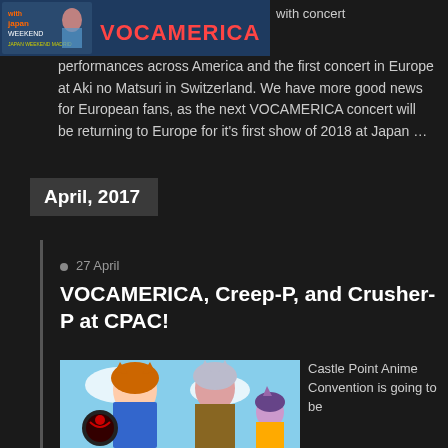[Figure (illustration): VOCAMERICA banner logo with Japan Weekend branding on left, colorful anime art style]
with concert performances across America and the first concert in Europe at Aki no Matsuri in Switzerland. We have more good news for European fans, as the next VOCAMERICA concert will be returning to Europe for it’s first show of 2018 at Japan …
April, 2017
27 April
VOCAMERICA, Creep-P, and Crusher-P at CPAC!
[Figure (illustration): Anime-style illustration with characters from VOCAMERICA, Creep-P and Crusher-P]
Castle Point Anime Convention is going to be